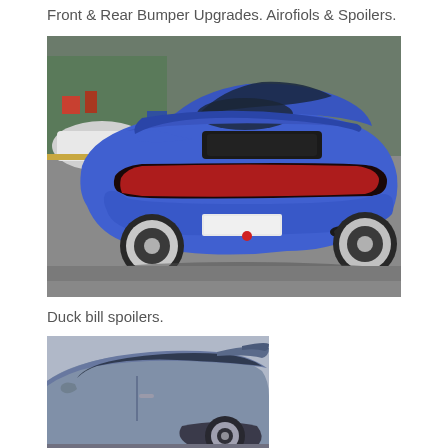Front & Rear Bumper Upgrades. Airofiols & Spoilers.
[Figure (photo): Rear view of a blue Porsche 911 with a large duck bill spoiler, parked in what appears to be a garage or workshop area. The car has wide fenders and aftermarket wheels.]
Duck bill spoilers.
[Figure (photo): Partial side/rear view of a silver/grey sports car with a duck bill spoiler visible. Shows the roof, side windows, and part of the rear spoiler.]